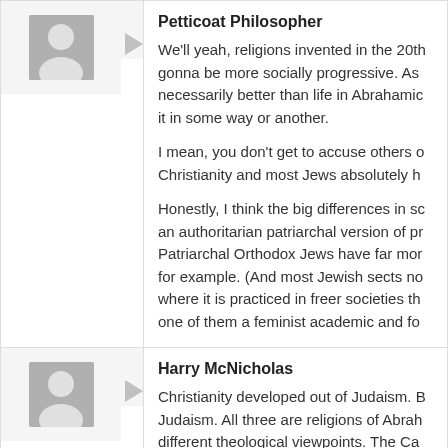Petticoat Philosopher
We'll yeah, religions invented in the 20th gonna be more socially progressive. As necessarily better than life in Abrahamic it in some way or another.

I mean, you don't get to accuse others o Christianity and most Jews absolutely h

Honestly, I think the big differences in s an authoritarian patriarchal version of p Patriarchal Orthodox Jews have far mo for example. (And most Jewish sects n where it is practiced in freer societies th one of them a feminist academic and fo
Harry McNicholas
Christianity developed out of Judaism. B Judaism. All three are religions of Abra different theological viewpoints. The Ca